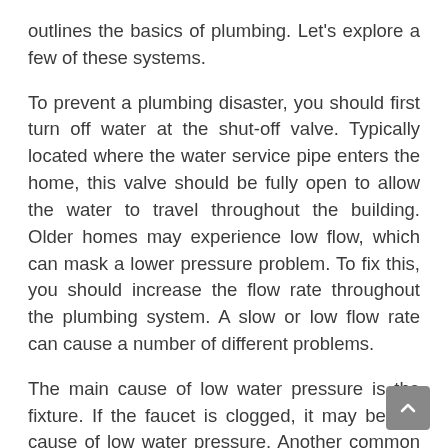outlines the basics of plumbing. Let's explore a few of these systems.
To prevent a plumbing disaster, you should first turn off water at the shut-off valve. Typically located where the water service pipe enters the home, this valve should be fully open to allow the water to travel throughout the building. Older homes may experience low flow, which can mask a lower pressure problem. To fix this, you should increase the flow rate throughout the plumbing system. A slow or low flow rate can cause a number of different problems.
The main cause of low water pressure is the fixture. If the faucet is clogged, it may be the cause of low water pressure. Another common issue is low flow, which can be a symptom of low pressure. A leak indicator, usually in the form of a triangular dial, may indicate that there is a problem. When this happens, you should consult with a plumber for repairs. A high flow rate can lead to high